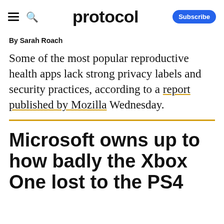protocol
By Sarah Roach
Some of the most popular reproductive health apps lack strong privacy labels and security practices, according to a report published by Mozilla Wednesday.
Microsoft owns up to how badly the Xbox One lost to the PS4